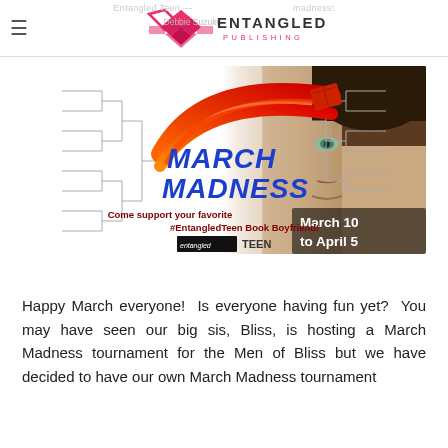Entangled Teen – ENTANGLED PUBLISHING
[Figure (illustration): March Madness promotional banner for #EntangledTeen Book Boyfriend event. Features tournament bracket graphic on left, 'MARCH MADNESS' text in bold blue, red swoosh logo, tagline 'Come support your favorite #EntangledTeen Book Boyfriend!', Entangled Teen logo, 'March 10 to April 5' date, and a close-up of a male face on the right.]
Happy March everyone!  Is everyone having fun yet?  You may have seen our big sis, Bliss, is hosting a March Madness tournament for the Men of Bliss but we have decided to have our own March Madness tournament